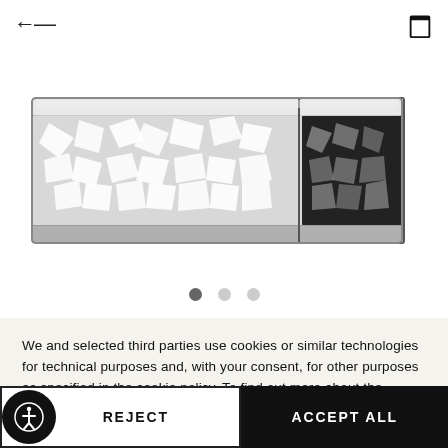[Figure (photo): A decorative metallic basket/tray with an intricate geometric cutout pattern in silver/chrome finish, viewed from a slight angle showing the long rectangular shape and geometric lattice design.]
We and selected third parties use cookies or similar technologies for technical purposes and, with your consent, for other purposes as specified in the cookie policy. To find out more about the personal information collected, please refer to our privacy policy.
Learn more and customize
REJECT
ACCEPT ALL